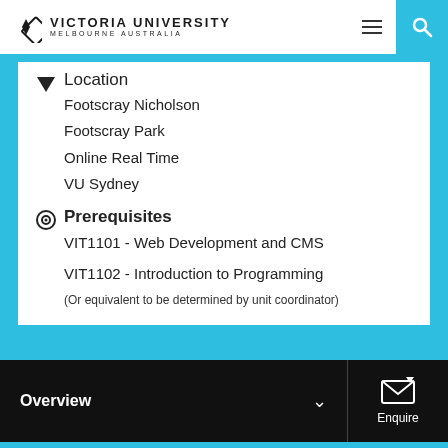Victoria University Melbourne Australia
Location
Footscray Nicholson
Footscray Park
Online Real Time
VU Sydney
Prerequisites
VIT1101 - Web Development and CMS
VIT1102 - Introduction to Programming
(Or equivalent to be determined by unit coordinator)
Overview | Enquire